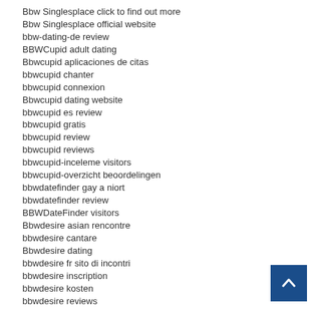Bbw Singlesplace click to find out more
Bbw Singlesplace official website
bbw-dating-de review
BBWCupid adult dating
Bbwcupid aplicaciones de citas
bbwcupid chanter
bbwcupid connexion
Bbwcupid dating website
bbwcupid es review
bbwcupid gratis
bbwcupid review
bbwcupid reviews
bbwcupid-inceleme visitors
bbwcupid-overzicht beoordelingen
bbwdatefinder gay a niort
bbwdatefinder review
BBWDateFinder visitors
Bbwdesire asian rencontre
bbwdesire cantare
Bbwdesire dating
bbwdesire fr sito di incontri
bbwdesire inscription
bbwdesire kosten
bbwdesire reviews